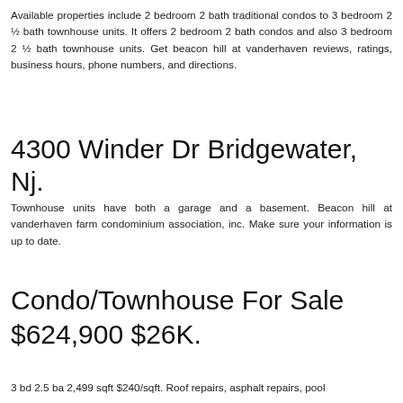Available properties include 2 bedroom 2 bath traditional condos to 3 bedroom 2 ½ bath townhouse units. It offers 2 bedroom 2 bath condos and also 3 bedroom 2 ½ bath townhouse units. Get beacon hill at vanderhaven reviews, ratings, business hours, phone numbers, and directions.
4300 Winder Dr Bridgewater, Nj.
Townhouse units have both a garage and a basement. Beacon hill at vanderhaven farm condominium association, inc. Make sure your information is up to date.
Condo/Townhouse For Sale $624,900 $26K.
3 bd 2.5 ba 2,499 sqft $240/sqft. Roof repairs, asphalt repairs, pool